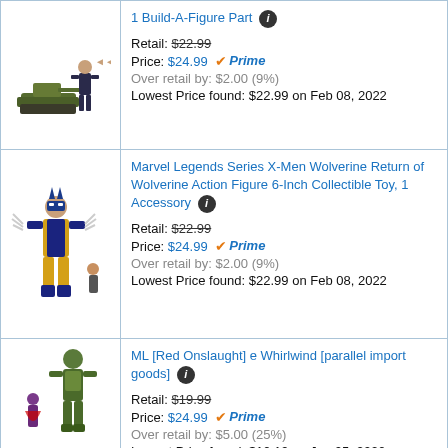[Figure (illustration): Action figure toy with military vehicle — G.I. Joe style figure and tank]
1 Build-A-Figure Part
Retail: $22.99
Price: $24.99 Prime
Over retail by: $2.00 (9%)
Lowest Price found: $22.99 on Feb 08, 2022
[Figure (illustration): Wolverine action figure in yellow and blue costume with claws]
Marvel Legends Series X-Men Wolverine Return of Wolverine Action Figure 6-Inch Collectible Toy, 1 Accessory
Retail: $22.99
Price: $24.99 Prime
Over retail by: $2.00 (9%)
Lowest Price found: $22.99 on Feb 08, 2022
[Figure (illustration): Green armored action figure with smaller purple figure]
ML [Red Onslaught] e Whirlwind [parallel import goods]
Retail: $19.99
Price: $24.99 Prime
Over retail by: $5.00 (25%)
Lowest Price found: $10.19 on Jun 05, 2020